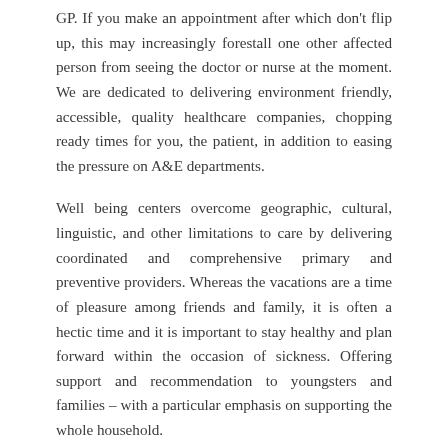GP. If you make an appointment after which don't flip up, this may increasingly forestall one other affected person from seeing the doctor or nurse at the moment. We are dedicated to delivering environment friendly, accessible, quality healthcare companies, chopping ready times for you, the patient, in addition to easing the pressure on A&E departments.
Well being centers overcome geographic, cultural, linguistic, and other limitations to care by delivering coordinated and comprehensive primary and preventive providers. Whereas the vacations are a time of pleasure among friends and family, it is often a hectic time and it is important to stay healthy and plan forward within the occasion of sickness. Offering support and recommendation to youngsters and families – with a particular emphasis on supporting the whole household.
Contact us right this moment to search out out how you can enroll at Aspiring Medical Centre. If you're dissatisfied with the